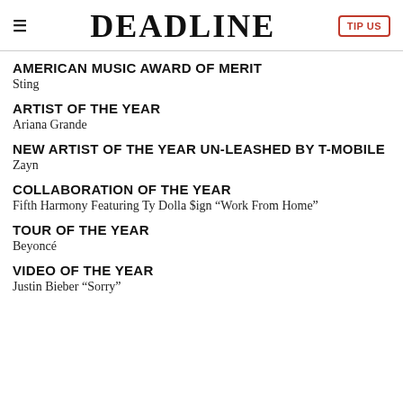DEADLINE | TIP US
AMERICAN MUSIC AWARD OF MERIT
Sting
ARTIST OF THE YEAR
Ariana Grande
NEW ARTIST OF THE YEAR UN-LEASHED BY T-MOBILE
Zayn
COLLABORATION OF THE YEAR
Fifth Harmony Featuring Ty Dolla $ign “Work From Home”
TOUR OF THE YEAR
Beyoncé
VIDEO OF THE YEAR
Justin Bieber “Sorry”